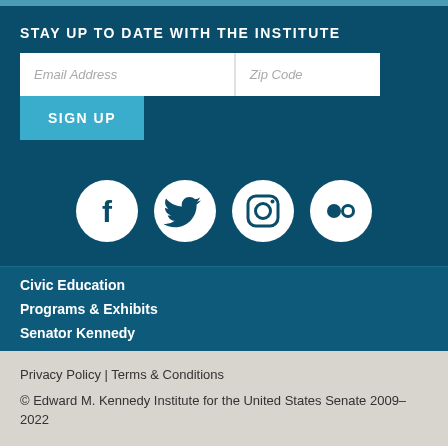STAY UP TO DATE WITH THE INSTITUTE
[Figure (other): Email signup form with Email Address and Zip Code fields and a SIGN UP button]
[Figure (other): Social media icons: Facebook, Twitter, Instagram, Flickr]
Civic Education
Programs & Exhibits
Senator Kennedy
Privacy Policy | Terms & Conditions
© Edward M. Kennedy Institute for the United States Senate 2009–2022